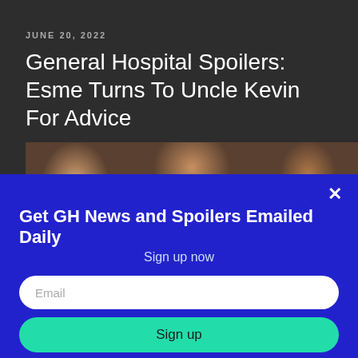JUNE 20, 2022
General Hospital Spoilers: Esme Turns To Uncle Kevin For Advice
[Figure (photo): Cropped photo strip showing faces of characters from General Hospital]
×
Get GH News and Spoilers Emailed Daily
Sign up now
Email
Sign up